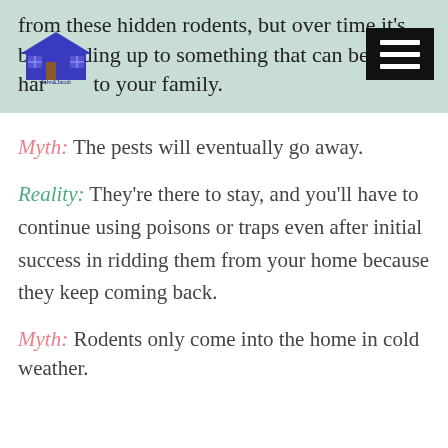from these hidden rodents, but over time it's building up to something that can be harmful to your family.
[Figure (logo): John & Jacob Pest Control Services logo with a house graphic]
Myth: The pests will eventually go away.
Reality: They're there to stay, and you'll have to continue using poisons or traps even after initial success in ridding them from your home because they keep coming back.
Myth: Rodents only come into the home in cold weather.